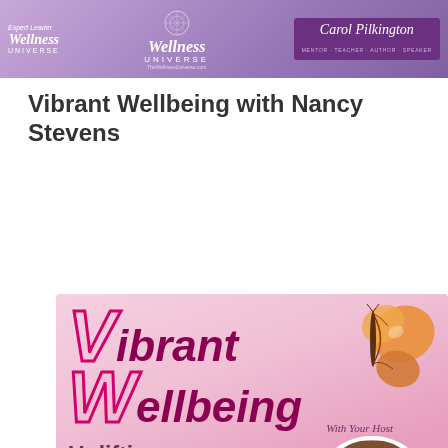[Figure (illustration): Top banner with purple gradient background showing Wellness Universe logo on left, Wellness Universe centered branding in middle, and Carol Pilkington name badge on right with purple background]
Vibrant Wellbeing with Nancy Stevens
[Figure (illustration): Promotional graphic for Vibrant Wellbeing show with pink gradient background, butterfly graphic top right, large decorative Vibrant Wellbeing text in pink/magenta, host photo of Nancy Stevens in circle, show schedule info: Every 2nd & 4th Sunday 11:30am ET/8:30am PT, URL https://bit.ly/VibrantWellbeing, Nancy Stevens name, bottom logos including Vibrant Wellbeing Show Host, Wellness Universe, and Uplift badge]